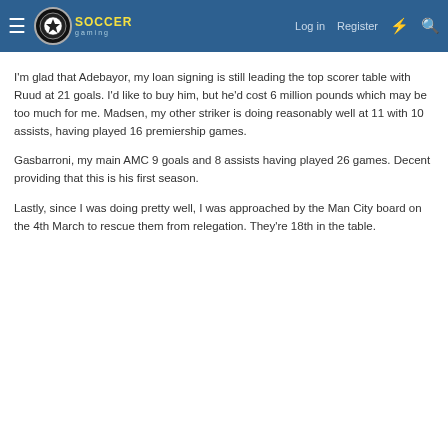Soccer Gaming — Log in  Register
I'm glad that Adebayor, my loan signing is still leading the top scorer table with Ruud at 21 goals. I'd like to buy him, but he'd cost 6 million pounds which may be too much for me. Madsen, my other striker is doing reasonably well at 11 with 10 assists, having played 16 premiership games.
Gasbarroni, my main AMC 9 goals and 8 assists having played 26 games. Decent providing that this is his first season.
Lastly, since I was doing pretty well, I was approached by the Man City board on the 4th March to rescue them from relegation. They're 18th in the table.